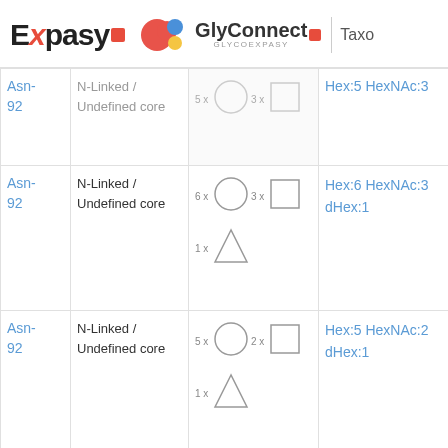Expasy | GlyConnect GLYCOEXPASY | Taxo
| Site | Type | Structure | Composition |
| --- | --- | --- | --- |
| Asn-92 | N-Linked / Undefined core | 5x circle 3x square | Hex:5 HexNAc:3 |
| Asn-92 | N-Linked / Undefined core | 6x circle 3x square / 1x triangle | Hex:6 HexNAc:3 dHex:1 |
| Asn-92 | N-Linked / Undefined core | 5x circle 2x square / 1x triangle | Hex:5 HexNAc:2 dHex:1 |